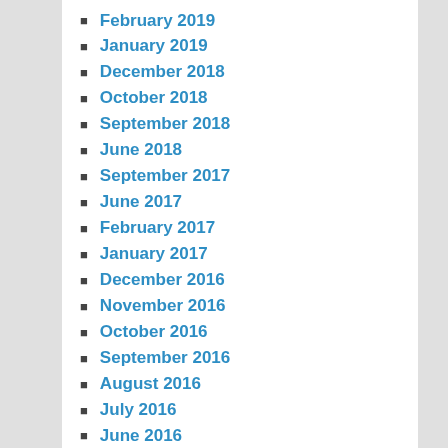February 2019
January 2019
December 2018
October 2018
September 2018
June 2018
September 2017
June 2017
February 2017
January 2017
December 2016
November 2016
October 2016
September 2016
August 2016
July 2016
June 2016
May 2016
April 2016
March 2016
February 2016